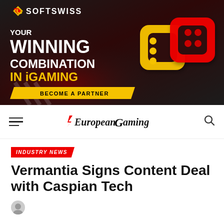[Figure (illustration): SOFTSWISS advertisement banner with dark background. Text reads 'YOUR WINNING COMBINATION IN iGAMING' with a 'BECOME A PARTNER' yellow button. Features 3D yellow and red interlocking chain link icons on the right.]
European Gaming
INDUSTRY NEWS
Vermantia Signs Content Deal with Caspian Tech